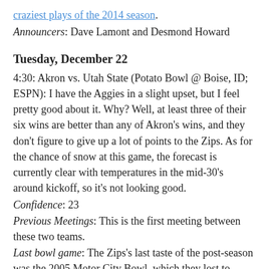craziest plays of the 2014 season.
Announcers: Dave Lamont and Desmond Howard
Tuesday, December 22
4:30: Akron vs. Utah State (Potato Bowl @ Boise, ID; ESPN): I have the Aggies in a slight upset, but I feel pretty good about it. Why? Well, at least three of their six wins are better than any of Akron's wins, and they don't figure to give up a lot of points to the Zips. As for the chance of snow at this game, the forecast is currently clear with temperatures in the mid-30's around kickoff, so it's not looking good.
Confidence: 23
Previous Meetings: This is the first meeting between these two teams.
Last bowl game: The Zips's last taste of the post-season was the 2005 Motor City Bowl, which they lost to Memphis 38-31. This is their second ever bowl game. For the Aggies, their fifth straight game returns to the roots of their streak, where they went to both the 2011 and 2012 Potato Bowls. They